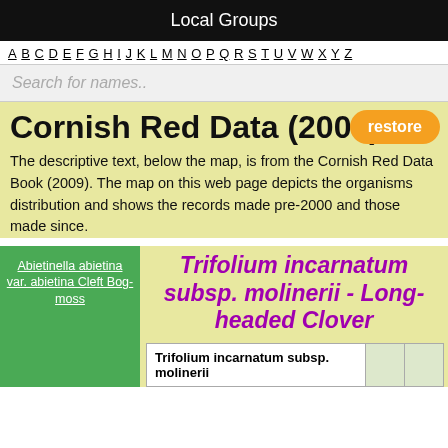Local Groups
A B C D E F G H I J K L M N O P Q R S T U V W X Y Z
Search for names..
Cornish Red Data (2009)
The descriptive text, below the map, is from the Cornish Red Data Book (2009). The map on this web page depicts the organisms distribution and shows the records made pre-2000 and those made since.
Abietinella abietina var. abietina Cleft Bog-moss
Trifolium incarnatum subsp. molinerii - Long-headed Clover
| Trifolium incarnatum subsp. molinerii |  |  |
| --- | --- | --- |